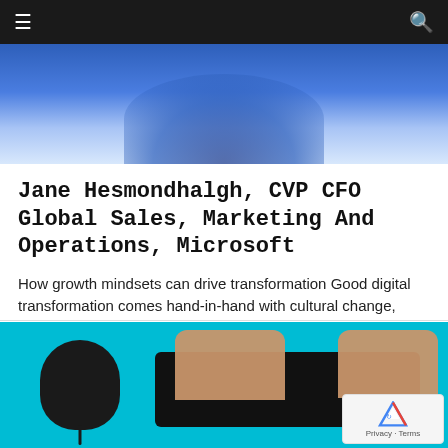≡  🔍
[Figure (photo): Blurred blue background with a person wearing blue clothing, hero image at top of article]
Jane Hesmondhalgh, CVP CFO Global Sales, Marketing And Operations, Microsoft
How growth mindsets can drive transformation Good digital transformation comes hand-in-hand with cultural change, explains the Microsoft CFO. ...
[Figure (photo): Overhead view of hands typing on a black keyboard with a black mouse on a cyan background]